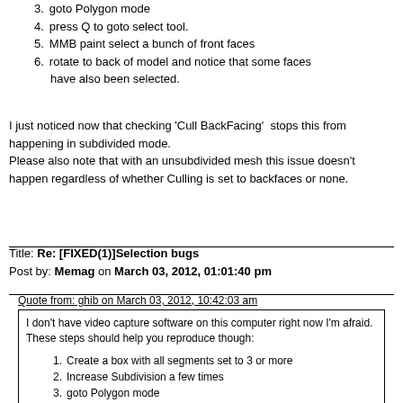3. goto Polygon mode
4. press Q to goto select tool.
5. MMB paint select a bunch of front faces
6. rotate to back of model and notice that some faces have also been selected.
I just noticed now that checking 'Cull BackFacing' stops this from happening in subdivided mode.
Please also note that with an unsubdivided mesh this issue doesn't happen regardless of whether Culling is set to backfaces or none.
Title: Re: [FIXED(1)]Selection bugs
Post by: Memag on March 03, 2012, 01:01:40 pm
Quote from: ghib on March 03, 2012, 10:42:03 am
I don't have video capture software on this computer right now I'm afraid. These steps should help you reproduce though:
1. Create a box with all segments set to 3 or more
2. Increase Subdivision a few times
3. goto Polygon mode
4. press Q to goto select tool.
5. MMB paint select a bunch of front faces
6. rotate to back of model and notice that some faces have also been selected.
I just noticed now that checking 'Cull BackFacing' stops this from happening in subdivided mode.
Please also note that with an unsubdivided mesh this issue doesn't happen